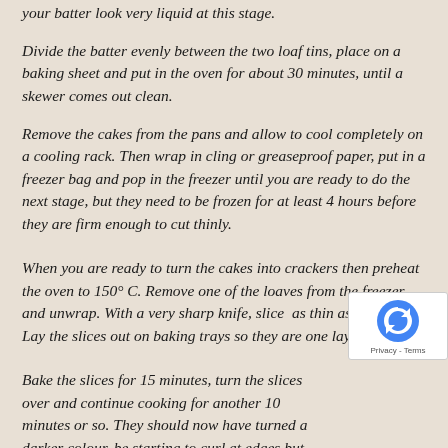your batter look very liquid at this stage.
Divide the batter evenly between the two loaf tins, place on a baking sheet and put in the oven for about 30 minutes, until a skewer comes out clean.
Remove the cakes from the pans and allow to cool completely on a cooling rack. Then wrap in cling or greaseproof paper, put in a freezer bag and pop in the freezer until you are ready to do the next stage, but they need to be frozen for at least 4 hours before they are firm enough to cut thinly.
When you are ready to turn the cakes into crackers then preheat the oven to 150° C. Remove one of the loaves from the freezer and unwrap. With a very sharp knife, slice  as thin as possible. Lay the slices out on baking trays so they are one layer thick.
Bake the slices for 15 minutes, turn the slices over and continue cooking for another 10 minutes or so. They should now have turned a darker colour, be starting to curl at edges but not blacken. Do not worry if they are still a li soft in the centre as they will firm up when you cool the cooling rack. Store in a airtight tin until ready to be eaten.